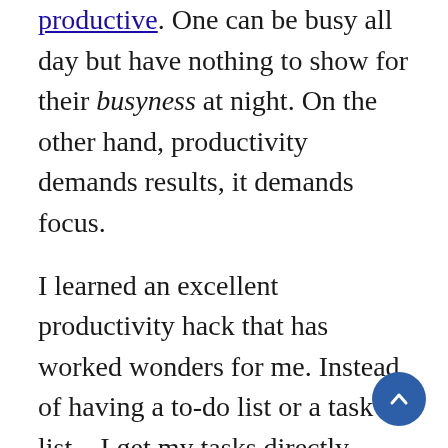productive. One can be busy all day but have nothing to show for their busyness at night. On the other hand, productivity demands results, it demands focus.
I learned an excellent productivity hack that has worked wonders for me. Instead of having a to-do list or a task list – I get my tasks directly scheduled into my calendar, thereby blocking out time to focus. The scheduled slots